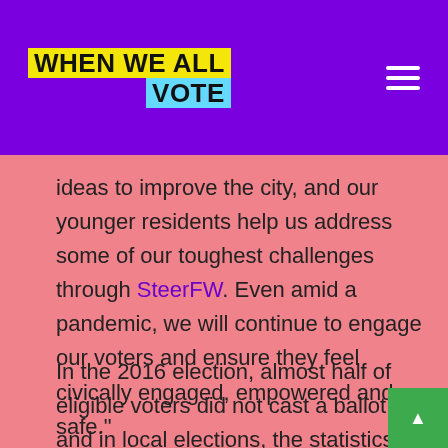[Figure (logo): When We All Vote logo — yellow background 'WHEN WE ALL' and cyan background 'VOTE' text on purple header bar]
ideas to improve the city, and our younger residents help us address some of our toughest challenges through SteerFW. Even amid a pandemic, we will continue to engage our voters and ensure they feel civically engaged, empowered and safe."
In the 2016 election, almost half of eligible voters did not cast a ballot, and in local elections, the statistics are even more alarming – fewer than 15 percent of eligible voters turned out